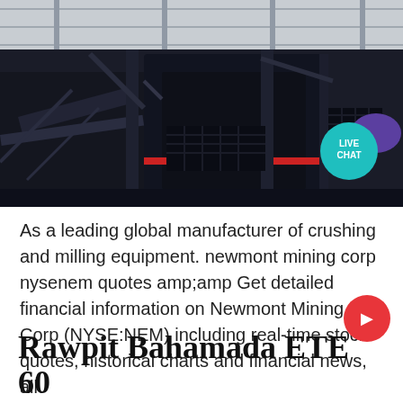[Figure (photo): Industrial mining/crushing machinery inside a warehouse or plant building. Large dark-colored mechanical equipment with conveyor belts and structural steel visible. A 'LIVE CHAT' teal bubble with a purple speech icon is overlaid in the upper right of the image.]
As a leading global manufacturer of crushing and milling equipment. newmont mining corp nysenem quotes amp;amp Get detailed financial information on Newmont Mining Corp (NYSE:NEM) including real-time stock quotes, historical charts and financial news, all
Rawpit Bahamada ETE 60